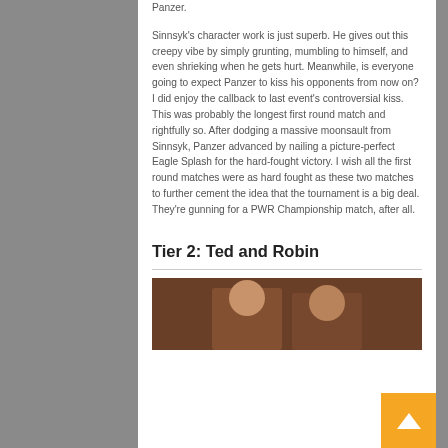Panzer.
Sinnsyk's character work is just superb. He gives out this creepy vibe by simply grunting, mumbling to himself, and even shrieking when he gets hurt. Meanwhile, is everyone going to expect Panzer to kiss his opponents from now on? I did enjoy the callback to last event's controversial kiss. This was probably the longest first round match and rightfully so. After dodging a massive moonsault from Sinnsyk, Panzer advanced by nailing a picture-perfect Eagle Splash for the hard-fought victory. I wish all the first round matches were as hard fought as these two matches to further cement the idea that the tournament is a big deal. They're gunning for a PWR Championship match, after all.
Tier 2: Ted and Robin
[Figure (photo): A photo of two people, partially visible at the bottom of the page]